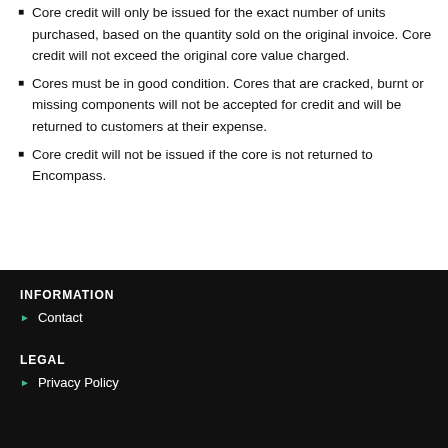Core credit will only be issued for the exact number of units purchased, based on the quantity sold on the original invoice. Core credit will not exceed the original core value charged.
Cores must be in good condition. Cores that are cracked, burnt or missing components will not be accepted for credit and will be returned to customers at their expense.
Core credit will not be issued if the core is not returned to Encompass.
INFORMATION
Contact
LEGAL
Privacy Policy